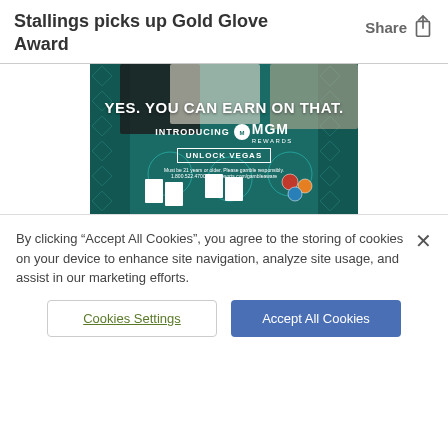Stallings picks up Gold Glove Award
[Figure (photo): MGM Rewards advertisement showing casino blackjack table with players. Text overlay reads: YES. YOU CAN EARN ON THAT. INTRODUCING MGM REWARDS. UNLOCK VEGAS. Must be 21 years or older. Please gamble responsibly. 1.800.522.4700. mgmresorts.com/gambleaware]
By clicking “Accept All Cookies”, you agree to the storing of cookies on your device to enhance site navigation, analyze site usage, and assist in our marketing efforts.
Cookies Settings
Accept All Cookies